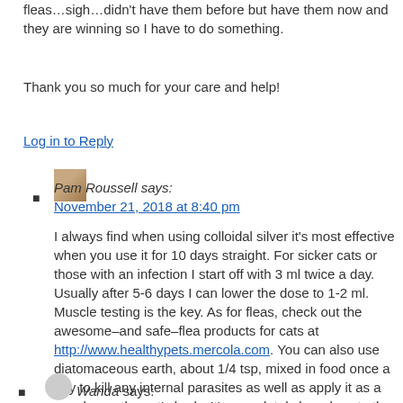fleas…sigh…didn't have them before but have them now and they are winning so I have to do something.
Thank you so much for your care and help!
Log in to Reply
Pam Roussell says: November 21, 2018 at 8:40 pm — I always find when using colloidal silver it's most effective when you use it for 10 days straight. For sicker cats or those with an infection I start off with 3 ml twice a day. Usually after 5-6 days I can lower the dose to 1-2 ml. Muscle testing is the key. As for fleas, check out the awesome–and safe–flea products for cats at http://www.healthypets.mercola.com. You can also use diatomaceous earth, about 1/4 tsp, mixed in food once a day to kill any internal parasites as well as apply it as a powder on the cat's body. It's completely harmless to the cat but is super effective!
Log in to Reply
Wanda says: